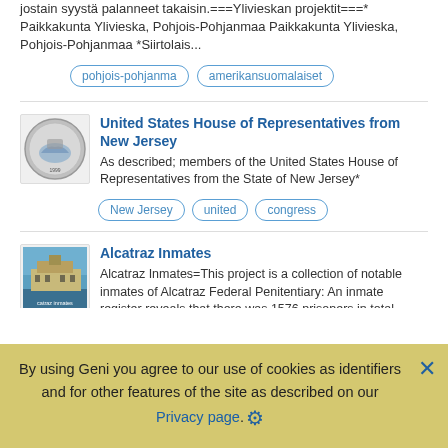jostain syystä palanneet takaisin.===Ylivieskan projektit===* Paikkakunta Ylivieska, Pohjois-Pohjanmaa Paikkakunta Ylivieska, Pohjois-Pohjanmaa *Siirtolais...
pohjois-pohjanma
amerikansuomalaiset
United States House of Representatives from New Jersey
As described; members of the United States House of Representatives from the State of New Jersey*
New Jersey
united
congress
Alcatraz Inmates
Alcatraz Inmates=This project is a collection of notable inmates of Alcatraz Federal Penitentiary: An inmate register reveals that there was 1576 prisoners in total which were held at Alcatraz during its time as a Federal Penitentiary, although figures reported have varied and some have stated 1557... About Alcatraz...Alcatraz had a historical...
By using Geni you agree to our use of cookies as identifiers and for other features of the site as described on our Privacy page.